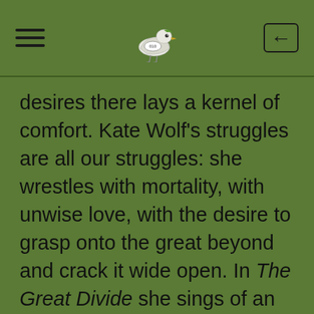[hamburger menu] [bird logo] [back button]
desires there lays a kernel of comfort. Kate Wolf's struggles are all our struggles: she wrestles with mortality, with unwise love, with the desire to grasp onto the great beyond and crack it wide open. In The Great Divide she sings of an owl that passes from this world to the next, separated from view. That owl of division haunts her songs of separation. “Time can paint the treetops with colors of the rainbow, but you cannot find the end, no matter how you try”, she sang in Unfinished Life. This sense of being unable to find what you are looking for, the mother’s warning of love being able to destroy a